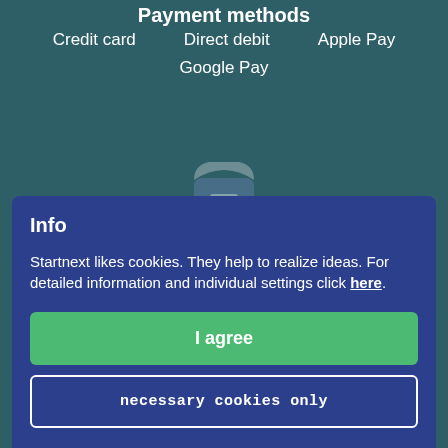Payment methods
Credit card
Direct debit
Apple Pay
Google Pay
[Figure (logo): Startnext logo icon, partially visible, white/grey on teal background]
The courageous shape the future
Info
Startnext likes cookies. They help to realize ideas. For detailed information and individual settings click here.
I agree
necessary cookies only